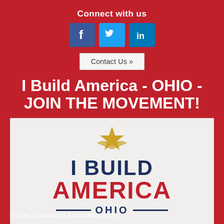Connect with us
[Figure (logo): Social media icons: Facebook (blue square with 'f'), Twitter (light blue square with bird), LinkedIn (blue square with 'in')]
Contact Us »
I Build America - OHIO - JOIN THE MOVEMENT!
[Figure (logo): I Build America Ohio logo: gold star with wings above bold navy text 'I BUILD' and red text 'AMERICA' and navy text 'OHIO' flanked by horizontal lines]
© Ohio Contractors Association 2020